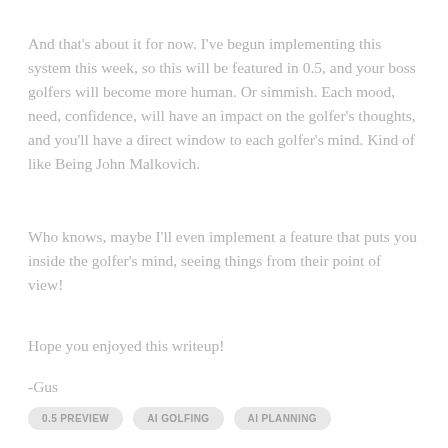And that's about it for now. I've begun implementing this system this week, so this will be featured in 0.5, and your boss golfers will become more human. Or simmish. Each mood, need, confidence, will have an impact on the golfer's thoughts, and you'll have a direct window to each golfer's mind. Kind of like Being John Malkovich.
Who knows, maybe I'll even implement a feature that puts you inside the golfer's mind, seeing things from their point of view!
Hope you enjoyed this writeup!
-Gus
0.5 PREVIEW   AI GOLFING   AI PLANNING